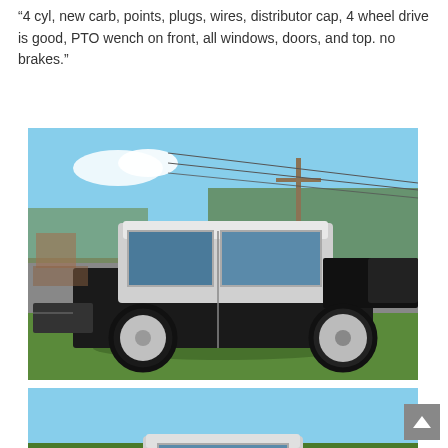“4 cyl, new carb, points, plugs, wires, distributor cap, 4 wheel drive is good, PTO wench on front, all windows, doors, and top. no brakes.”
[Figure (photo): Side view of a black and white/gray Jeep CJ parked on grass with utility poles and trees in the background. The Jeep has a hardtop, white steel wheels, and black body.]
[Figure (photo): Rear view of the same black and white Jeep CJ on grass with trees in the background.]